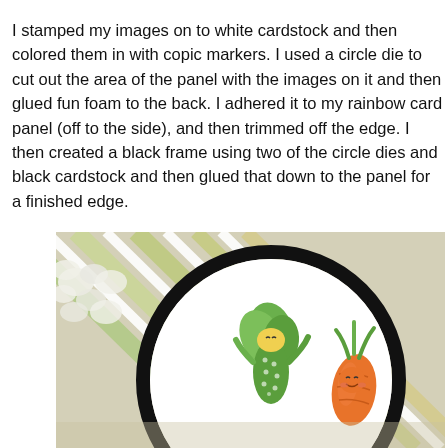I stamped my images on to white cardstock and then colored them in with copic markers. I used a circle die to cut out the area of the panel with the images on it and then glued fun foam to the back. I adhered it to my rainbow card panel (off to the side), and then trimmed off the edge. I then created a black frame using two of the circle dies and black cardstock and then glued that down to the panel for a finished edge.
[Figure (photo): Close-up photo of a crafted card panel showing cute cartoon vegetable illustrations (corn and carrot) colored with copic markers on a white circular panel with a black frame, placed on a rainbow-striped background with white flowers visible.]